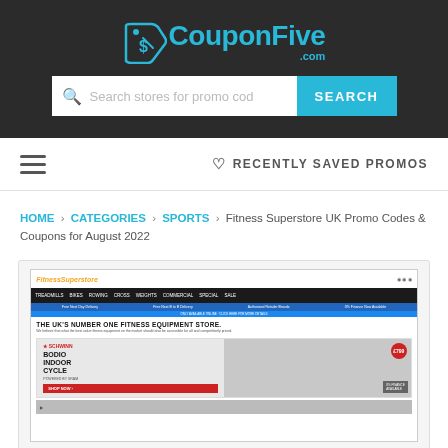CouponFive.com — Search stores for promo codes
RECENTLY SAVED PROMOS
HOME › CATEGORIES › SPORTS › Fitness Superstore UK Promo Codes & Coupons for August 2022
[Figure (screenshot): Screenshot of Fitness Superstore UK website showing navigation bar, promotional banners, and a Schwinn Bodio Indoor Cycle product advertisement]